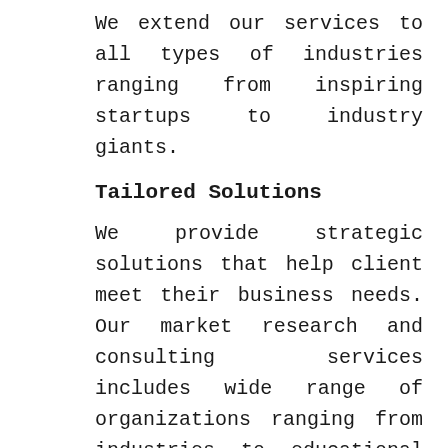We extend our services to all types of industries ranging from inspiring startups to industry giants.
Tailored Solutions
We provide strategic solutions that help client meet their business needs. Our market research and consulting services includes wide range of organizations ranging from industries to educational and research institutes. Our well-equipped analytical team help client to explore digital platform for maximizing profits.
Industry Partnership